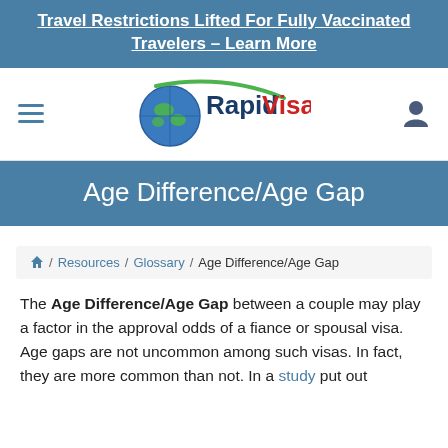Travel Restrictions Lifted For Fully Vaccinated Travelers – Learn More
[Figure (logo): RapidVisa logo with globe icon and hamburger menu and user icon]
Age Difference/Age Gap
🏠 / Resources / Glossary / Age Difference/Age Gap
The Age Difference/Age Gap between a couple may play a factor in the approval odds of a fiance or spousal visa. Age gaps are not uncommon among such visas. In fact, they are more common than not. In a study put out